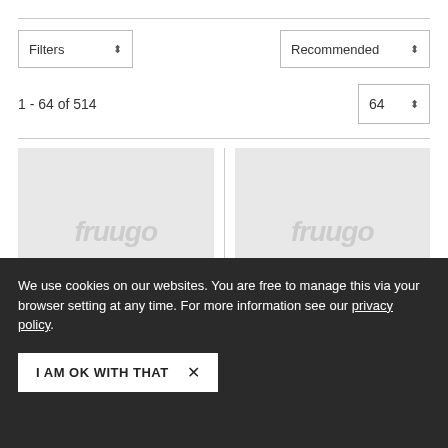Filters ⬍
Recommended ⬍
1 - 64 of 514
64 ⬍
[Figure (screenshot): Product image placeholder with fruugo watermark logo (left)]
[Figure (screenshot): Product image placeholder with fruugo watermark logo (right)]
We use cookies on our websites. You are free to manage this via your browser setting at any time. For more information see our privacy policy.
I AM OK WITH THAT ×
Women's Scrub Sets Six Pocket Medical Scrubs (v-neck With C argo Pant)
Women's Scrub Sets Six Pocket Medical Scrubs (v-neck With C argo Pant)